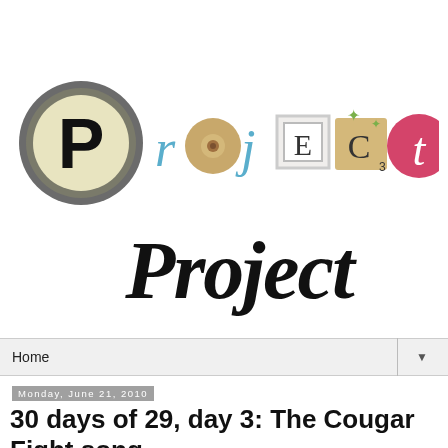[Figure (logo): Project Project blog logo — letter P in typewriter key, colorful craft-style letters spelling 'roject', and handwritten 'Project' below]
Home
Monday, June 21, 2010
30 days of 29, day 3: The Cougar Fight song